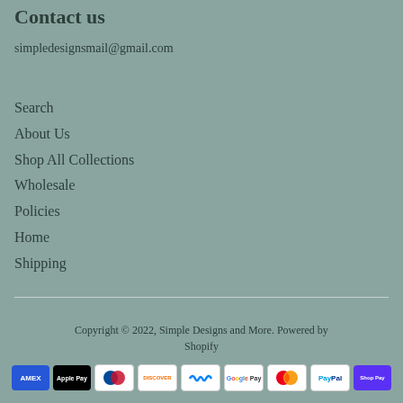Contact us
simpledesignsmail@gmail.com
Search
About Us
Shop All Collections
Wholesale
Policies
Home
Shipping
Copyright © 2022, Simple Designs and More. Powered by Shopify
[Figure (other): Payment method icons: American Express, Apple Pay, Diners Club, Discover, Meta Pay, Google Pay, Mastercard, PayPal, Shop Pay]